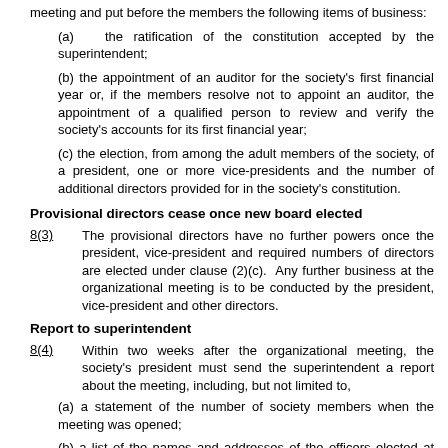meeting and put before the members the following items of business:
(a)  the ratification of the constitution accepted by the superintendent;
(b) the appointment of an auditor for the society's first financial year or, if the members resolve not to appoint an auditor, the appointment of a qualified person to review and verify the society's accounts for its first financial year;
(c) the election, from among the adult members of the society, of a president, one or more vice-presidents and the number of additional directors provided for in the society's constitution.
Provisional directors cease once new board elected
8(3)      The provisional directors have no further powers once the president, vice-president and required numbers of directors are elected under clause (2)(c).  Any further business at the organizational meeting is to be conducted by the president, vice-president and other directors.
Report to superintendent
8(4)      Within two weeks after the organizational meeting, the society's president must send the superintendent a report about the meeting, including, but not limited to,
(a) a statement of the number of society members when the meeting was opened;
(b) a list of the names and addresses of the officers elected at the meeting; and